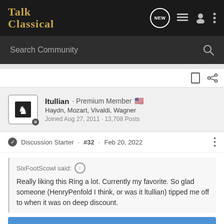Talk Classical
Search Community
ltullian · Premium Member
Haydn, Mozart, Vivaldi, Wagner
Joined Aug 27, 2011 · 13,708 Posts
Discussion Starter · #32 · Feb 20, 2022
SixFootScowl said:
Really liking this Ring a lot. Currently my favorite. So glad someone (HenryPenfold I think, or was it ltullian) tipped me off to when it was on deep discount.
[Figure (screenshot): Partial album cover image showing the beginning of text 'Der' in yellow on a blue background]